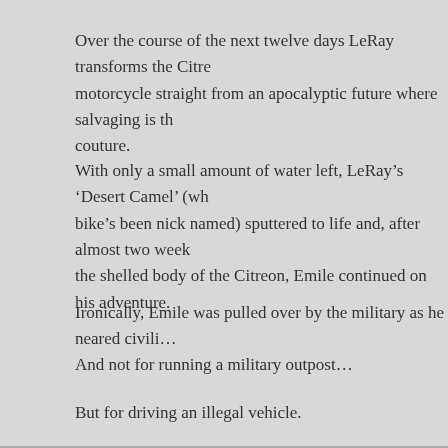Over the course of the next twelve days LeRay transforms the Citre motorcycle straight from an apocalyptic future where salvaging is th couture.
With only a small amount of water left, LeRay's 'Desert Camel' (wh bike's been nick named) sputtered to life and, after almost two week the shelled body of the Citreon, Emile continued on his adventure.
Ironically, Emile was pulled over by the military as he neared civili
And not for running a military outpost…
But for driving an illegal vehicle.
[Gizmodo]
Posted in Awesome, Invention | 2 Comments »
Harry Potter Diary Inspired Bloody Invention Could Save Your Life
Thursday, May 3rd, 2012